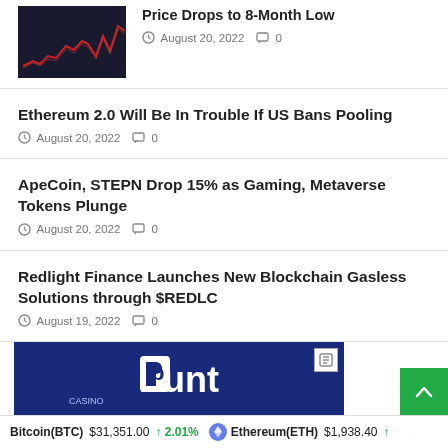[Figure (photo): Dark financial chart thumbnail with red line showing price drop]
Price Drops to 8-Month Low
August 20, 2022   0
Ethereum 2.0 Will Be In Trouble If US Bans Pooling
August 20, 2022   0
ApeCoin, STEPN Drop 15% as Gaming, Metaverse Tokens Plunge
August 20, 2022   0
Redlight Finance Launches New Blockchain Gasless Solutions through $REDLC
August 19, 2022   0
[Figure (logo): Punt Casino advertisement banner with white Punt logo on dark blue background]
Bitcoin(BTC) $31,351.00 ↑ 2.01%   Ethereum(ETH) $1,938.40 ↑